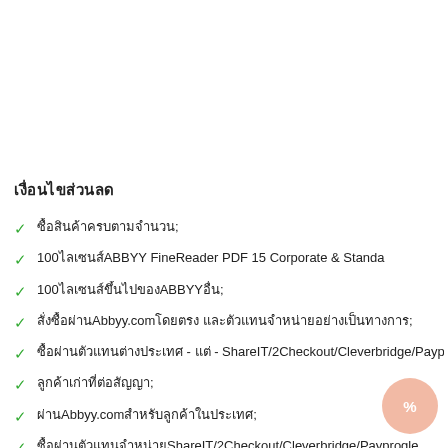เงื่อนไขส่วนลด
ซื้อสินค้าครบตามจำนวน;
100ไลเซนส์ABBYY FineReader PDF 15 Corporate & Standa
100ไลเซนส์ขึ้นไปของABBYYอื่น;
สั่งซื้อผ่านAbbyy.comโดยตรง และตัวแทนจำหน่ายอย่างเป็นทางการ;
ซื้อผ่านตัวแทนต่างประเทศ - แต่ - ShareIT/2Checkout/Cleverbridge/Paypr
ลูกค้าเก่าที่ต่อสัญญา;
ผ่านAbbyy.comสำหรับลูกค้าในประเทศ;
ซื้อผ่านตัวแทนจำหน่ายShareIT/2Checkout/Cleverbridge/Payprogle